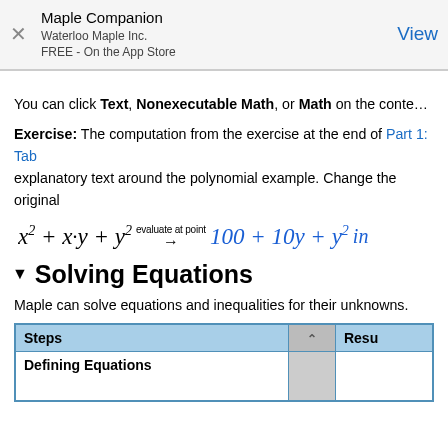Maple Companion
Waterloo Maple Inc.
FREE - On the App Store
You can click Text, Nonexecutable Math, or Math on the context bar
Exercise: The computation from the exercise at the end of Part 1: Tab... explanatory text around the polynomial example. Change the original
Solving Equations
Maple can solve equations and inequalities for their unknowns.
| Steps |  | Resu... |
| --- | --- | --- |
| Defining Equations |  |  |